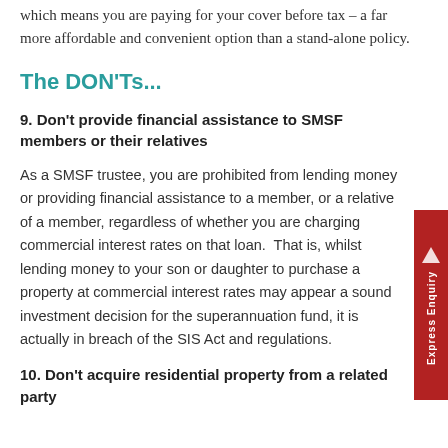which means you are paying for your cover before tax – a far more affordable and convenient option than a stand-alone policy.
The DON'Ts...
9. Don't provide financial assistance to SMSF members or their relatives
As a SMSF trustee, you are prohibited from lending money or providing financial assistance to a member, or a relative of a member, regardless of whether you are charging commercial interest rates on that loan.  That is, whilst lending money to your son or daughter to purchase a property at commercial interest rates may appear a sound investment decision for the superannuation fund, it is actually in breach of the SIS Act and regulations.
10. Don't acquire residential property from a related party